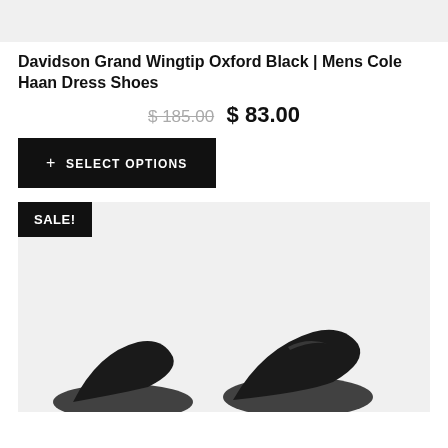[Figure (photo): Top portion of a gray product image placeholder]
Davidson Grand Wingtip Oxford Black | Mens Cole Haan Dress Shoes
$ 185.00  $ 83.00
+ SELECT OPTIONS
[Figure (photo): Sale product card showing gray background with SALE! badge and partial shoe image at the bottom]